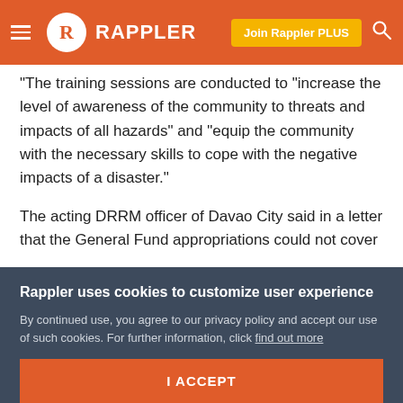Rappler
“The training sessions are conducted to “increase the level of awareness of the community to threats and impacts of all hazards” and “equip the community with the necessary skills to cope with the negative impacts of a disaster.”
The acting DRRM officer of Davao City said in a letter that the General Fund appropriations could not cover all the expenses of their services.
COA recommended that the city DRRM office request for additional budget instead of using LDRRM Fund for
Rappler uses cookies to customize user experience
By continued use, you agree to our privacy policy and accept our use of such cookies. For further information, click find out more
I ACCEPT